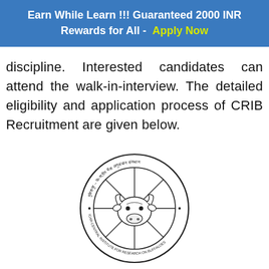Earn While Learn !!! Guaranteed 2000 INR Rewards for All - Apply Now
discipline. Interested candidates can attend the walk-in-interview. The detailed eligibility and application process of CRIB Recruitment are given below.
[Figure (logo): ICAR - Central Institute for Research on Buffaloes (CIRB) circular logo with a buffalo head in the center and text around the border in Hindi and English.]